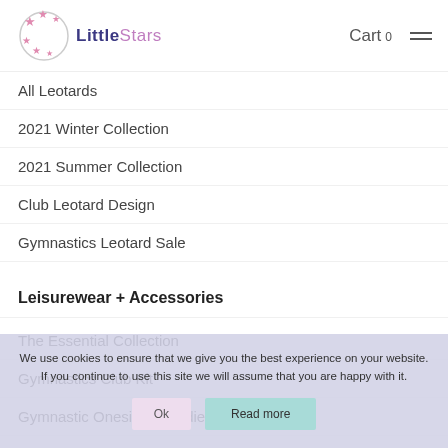LittleStars — Cart 0
All Leotards
2021 Winter Collection
2021 Summer Collection
Club Leotard Design
Gymnastics Leotard Sale
Leisurewear + Accessories
The Essential Collection
Gymnastics Club Kit
Gymnastic Onesie + Hoodies
Gymnastic Shorts + Leggings
Cheerleading Bra Top Sets
We use cookies to ensure that we give you the best experience on your website. If you continue to use this site we will assume that you are happy with it.